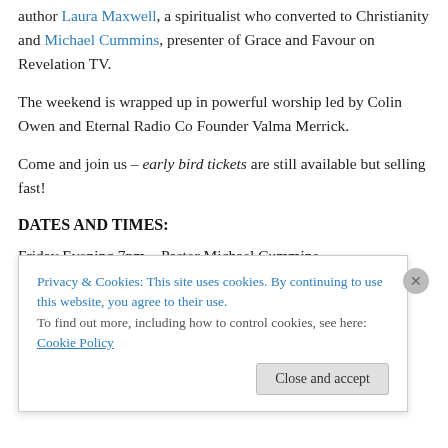author Laura Maxwell, a spiritualist who converted to Christianity and Michael Cummins, presenter of Grace and Favour on Revelation TV.
The weekend is wrapped up in powerful worship led by Colin Owen and Eternal Radio Co Founder Valma Merrick.
Come and join us – early bird tickets are still available but selling fast!
DATES AND TIMES:
Friday Evening 7pm – Pastor Michael Cummins –
Privacy & Cookies: This site uses cookies. By continuing to use this website, you agree to their use. To find out more, including how to control cookies, see here: Cookie Policy